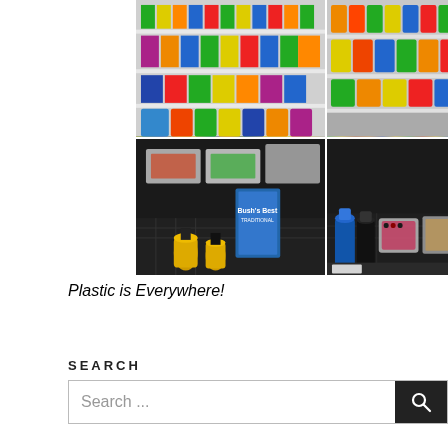[Figure (photo): A 2x2 grid of photos showing plastic packaging in a grocery store: top-left and top-right show colorful cleaning product aisles with bottles and containers on shelves; bottom-left and bottom-right show refrigerated food items in plastic containers on a dark conveyor or display surface. The bottom-right image has a price tag visible.]
Plastic is Everywhere!
SEARCH
Search ...